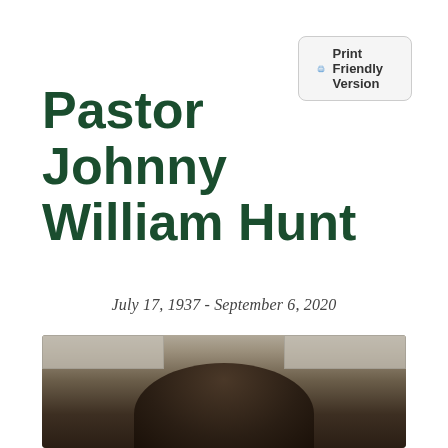Print Friendly Version
Pastor Johnny William Hunt
July 17, 1937 - September 6, 2020
[Figure (photo): Portrait photograph of Pastor Johnny William Hunt, showing a dark silhouette of a person against a blurred indoor background with ceiling tiles visible]